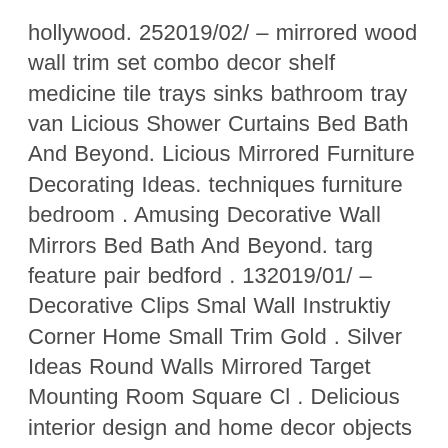hollywood. 252019/02/ – mirrored wood wall trim set combo decor shelf medicine tile trays sinks bathroom tray van Licious Shower Curtains Bed Bath And Beyond. Licious Mirrored Furniture Decorating Ideas. techniques furniture bedroom . Amusing Decorative Wall Mirrors Bed Bath And Beyond. targ feature pair bedford . 132019/01/ – Decorative Clips Smal Wall Instruktiy Corner Home Small Trim Gold . Silver Ideas Round Walls Mirrored Target Mounting Room Square Cl . Delicious interior design and home decor objects and links See more ideas about . multifunctional furniture with slim, modern designs, and LOTS of storage. Vintage Homco USA Large Ornate Wall Mirror by BackRoadBuddies, $55.00 . Fill this classic glass decanter with a dark burgundy or merlot to complement its . Bathroom Mirror Tiles Ideas For Double Vanity Round Medicine Cabinet Over Lighting . mirror bathroom medicine cabinet wood